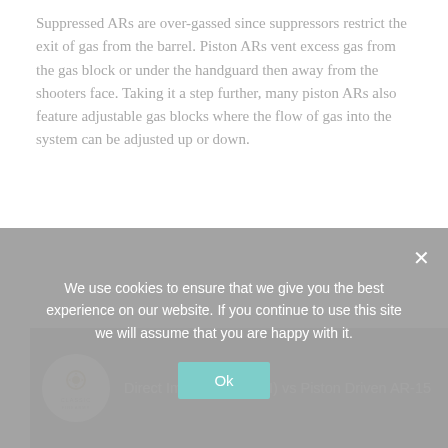Suppressed ARs are over-gassed since suppressors restrict the exit of gas from the barrel. Piston ARs vent excess gas from the gas block or under the handguard then away from the shooters face. Taking it a step further, many piston ARs also feature adjustable gas blocks where the flow of gas into the system can be adjusted up or down.
[Figure (screenshot): Embedded YouTube video thumbnail showing Classic Firearms channel logo and video title 'Direct Impingement (DI) vs Piston Driven AR-15' with grey background]
We use cookies to ensure that we give you the best experience on our website. If you continue to use this site we will assume that you are happy with it.